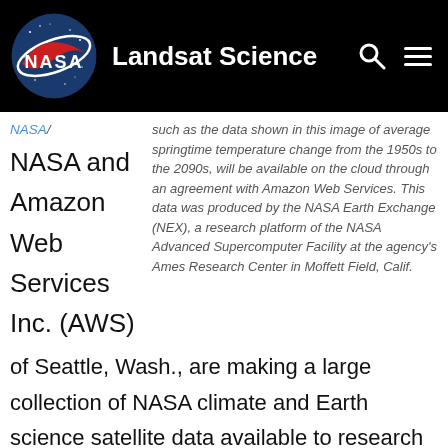Landsat Science
NASA/
NASA and Amazon Web Services Inc. (AWS)
such as the data shown in this image of average springtime temperature change from the 1950s to the 2090s, will be available on the cloud through an agreement with Amazon Web Services. This data was produced by the NASA Earth Exchange (NEX), a research platform of the NASA Advanced Supercomputer Facility at the agency's Ames Research Center in Moffett Field, Calif.
of Seattle, Wash., are making a large collection of NASA climate and Earth science satellite data available to research and educational users through the AWS cloud.
The system enhances research and educational capabilities for the U.S. scientific community